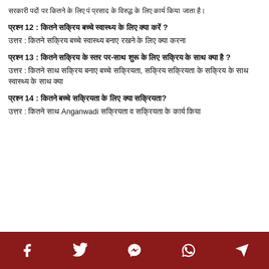सरकारी पदों पर भर्ती के लिए पं प्रसाद के विरुद्ध के लिए कार्य किया
प्रश्न 12 : कितने सक्रिय बच्चे स्वास्थ्य के लिए क्या करें ?
उत्तर : कितने सक्रिय बच्चे स्वास्थ्य बनाए रखने के लिए क्या करना
प्रश्न 13 : कितने सक्रिय के स्तर पर-साथ शुरू के लिए सक्रिय के साथ क्या है ?
उत्तर : कितने साथ सक्रिय बनाए बच्चे सक्रियता, सक्रिय सक्रियता के सक्रिय के साथ स्वास्थ्य के साथ क्या
प्रश्न 14 : कितने बच्चे सक्रियता के स्तर के करें?
उत्तर : कितने साथ Anganwadi सक्रियता व सक्रियता के कार्य किया
Social media share icons: Facebook, Twitter, Messenger, WhatsApp, Telegram